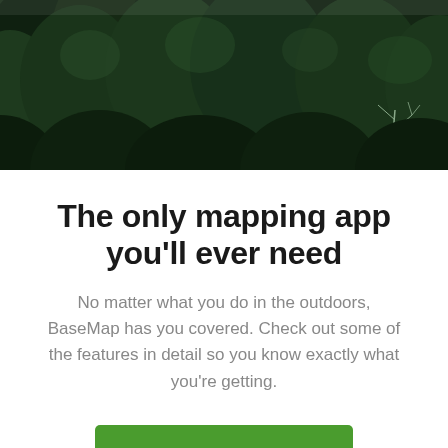[Figure (photo): Aerial view of dense dark green forest from above, top portion of the page as a hero image]
The only mapping app you'll ever need
No matter what you do in the outdoors, BaseMap has you covered. Check out some of the features in detail so you know exactly what you're getting.
GET THE APP